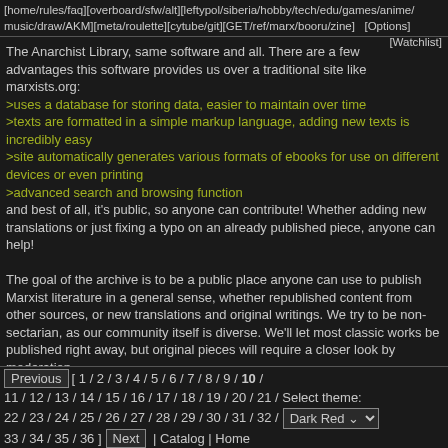[home/rules/faq][overboard/sfw/alt][leftypol/siberia/hobby/tech/edu/games/anime/music/draw/AKM][meta/roulette][cytube/git][GET/ref/marx/booru/zine]  [Options]
[Watchlist]
The Anarchist Library, same software and all. There are a few advantages this software provides us over a traditional site like marxists.org:
>uses a database for storing data, easier to maintain over time
>texts are formatted in a simple markup language, adding new texts is incredibly easy
>site automatically generates various formats of ebooks for use on different devices or even printing
>advanced search and browsing function
and best of all, it's public, so anyone can contribute! Whether adding new translations or just fixing a typo on an already published piece, anyone can help!

The goal of the archive is to be a public place anyone can use to publish Marxist literature in a general sense, whether republished content from other sources, or new translations and original writings. We try to be non-sectarian, as our community itself is diverse. We'll let most classic works be published right away, but original pieces will require a closer look by moderation.
Previous  [ 1 / 2 / 3 / 4 / 5 / 6 / 7 / 8 / 9 / 10 / 11 / 12 / 13 / 14 / 15 / 16 / 17 / 18 / 19 / 20 / 21 / Select theme: 22 / 23 / 24 / 25 / 26 / 27 / 28 / 29 / 30 / 31 / 32 / Dark Red 33 / 34 / 35 / 36 ]  Next  | Catalog | Home